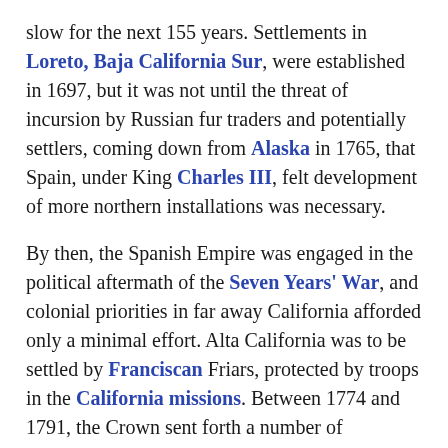slow for the next 155 years. Settlements in Loreto, Baja California Sur, were established in 1697, but it was not until the threat of incursion by Russian fur traders and potentially settlers, coming down from Alaska in 1765, that Spain, under King Charles III, felt development of more northern installations was necessary.
By then, the Spanish Empire was engaged in the political aftermath of the Seven Years' War, and colonial priorities in far away California afforded only a minimal effort. Alta California was to be settled by Franciscan Friars, protected by troops in the California missions. Between 1774 and 1791, the Crown sent forth a number of expeditions to further explore and settle Alta California and the Pacific Northwest.
Portolá expedition
Main article: Portolá expedition